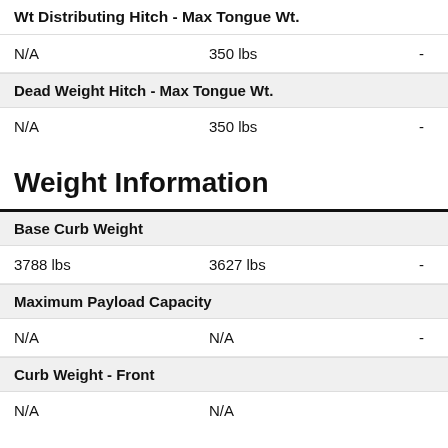Wt Distributing Hitch - Max Tongue Wt.
N/A    350 lbs    -
Dead Weight Hitch - Max Tongue Wt.
N/A    350 lbs    -
Weight Information
Base Curb Weight
3788 lbs    3627 lbs    -
Maximum Payload Capacity
N/A    N/A    -
Curb Weight - Front
N/A    N/A